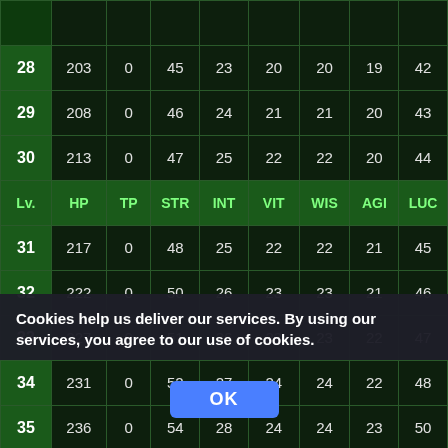| Lv. | HP | TP | STR | INT | VIT | WIS | AGI | LUC |
| --- | --- | --- | --- | --- | --- | --- | --- | --- |
| 28 | 203 | 0 | 45 | 23 | 20 | 20 | 19 | 42 |
| 29 | 208 | 0 | 46 | 24 | 21 | 21 | 20 | 43 |
| 30 | 213 | 0 | 47 | 25 | 22 | 22 | 20 | 44 |
| Lv. | HP | TP | STR | INT | VIT | WIS | AGI | LUC |
| 31 | 217 | 0 | 48 | 25 | 22 | 22 | 21 | 45 |
| 32 | 222 | 0 | 50 | 26 | 23 | 23 | 21 | 46 |
| 33 | 227 | 0 | 51 | 26 | 23 | 23 | 22 | 47 |
| 34 | 231 | 0 | 52 | 27 | 24 | 24 | 22 | 48 |
| 35 | 236 | 0 | 54 | 28 | 24 | 24 | 23 | 50 |
| 36 | 241 | 0 | 55 | 28 | 25 | 25 | 23 | 51 |
| 37 | 246 | 0 | 56 | 29 | 25 | 25 | 24 | 52 |
| 38 | 250 | 0 | 57 | 26 | 26 | 26 | 24 | 53 |
| 39 | 255 | 0 | 59 | 29 | (cut off) |  |  |  |
Cookies help us deliver our services. By using our services, you agree to our use of cookies.